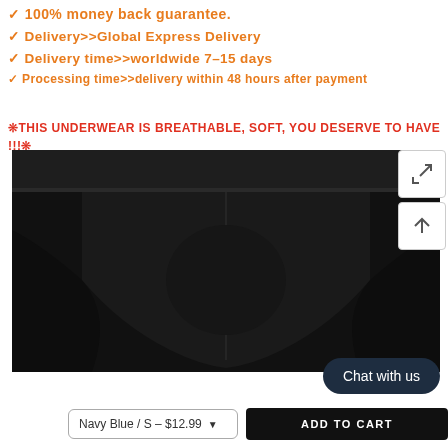✓ 100% money back guarantee.
✓ Delivery>>Global Express Delivery
✓ Delivery time>>worldwide 7-15 days
✓ Processing time>>delivery within 48 hours after payment
❊THIS UNDERWEAR IS BREATHABLE, SOFT, YOU DESERVE TO HAVE !!!❊
[Figure (photo): Black men's brief underwear product photo on dark background]
Chat with us
Navy Blue / S – $12.99
ADD TO CART